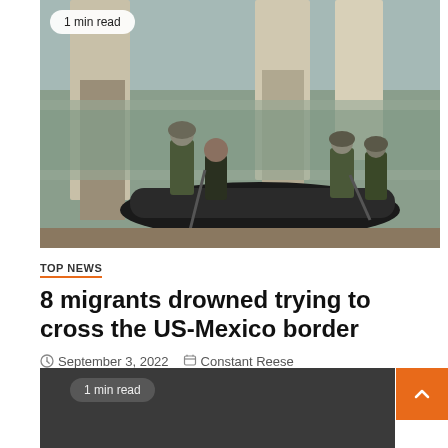[Figure (photo): Military/law enforcement personnel in camouflage gear on a black inflatable boat under a bridge on a river, with concrete bridge pillars visible. A person in dark clothing is among them.]
1 min read
TOP NEWS
8 migrants drowned trying to cross the US-Mexico border
September 3, 2022   Constant Reese
[Figure (photo): Bottom dark grey card area partially visible, with '1 min read' badge and orange scroll-to-top button with upward chevron arrow.]